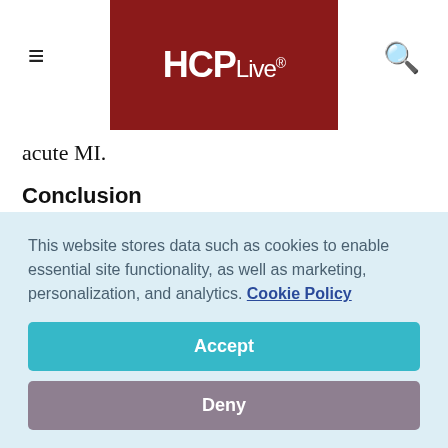HCPLive®
acute MI.
Conclusion
The current study shows that all ACE inhibitors should not be regarded as having the same benefits. Patients ≥ 65 years of age taking ramipril at the currently used dosage were
This website stores data such as cookies to enable essential site functionality, as well as marketing, personalization, and analytics. Cookie Policy
Accept
Deny